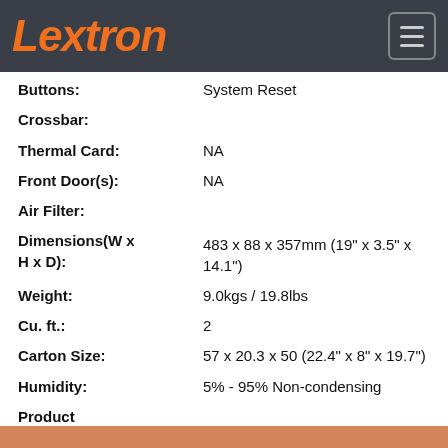Lextron
Buttons: System Reset
Crossbar:
Thermal Card: NA
Front Door(s): NA
Air Filter:
Dimensions(W x H x D): 483 x 88 x 357mm (19" x 3.5" x 14.1")
Weight: 9.0kgs / 19.8lbs
Cu. ft.: 2
Carton Size: 57 x 20.3 x 50 (22.4" x 8" x 19.7")
Humidity: 5% - 95% Non-condensing
Product Applications: